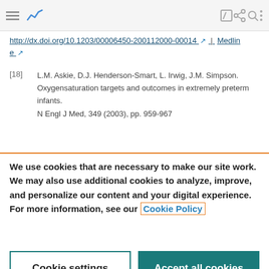[Figure (screenshot): Top navigation bar with hamburger menu, chart icon (active/blue), edit icon, share icon, search icon, and three-dot menu]
http://dx.doi.org/10.1203/00006450-200112000-00014 ↗ | Medline ↗
[18] L.M. Askie, D.J. Henderson-Smart, L. Irwig, J.M. Simpson. Oxygensaturation targets and outcomes in extremely preterm infants. N Engl J Med, 349 (2003), pp. 959-967
We use cookies that are necessary to make our site work. We may also use additional cookies to analyze, improve, and personalize our content and your digital experience. For more information, see our Cookie Policy
Cookie settings | Accept all cookies